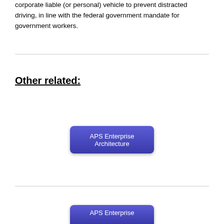corporate liable (or personal) vehicle to prevent distracted driving, in line with the federal government mandate for government workers.
Other related:
[Figure (screenshot): A purple rounded rectangle button labeled 'APS Enterprise Architecture']
[Figure (screenshot): A purple rounded rectangle button partially visible, labeled 'APS Enterprise...' (cut off at bottom of page)]